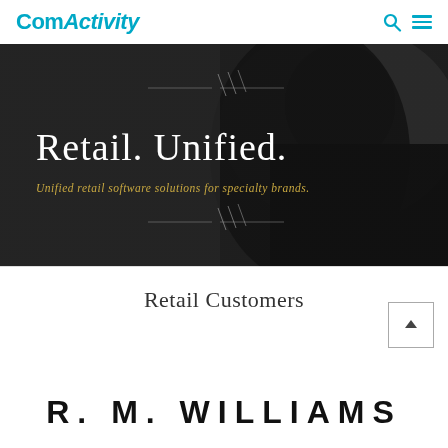ComActivity
[Figure (photo): Hero banner image: dark background with a blurred silhouette of a person wearing a turtleneck. Text overlay reads 'Retail. Unified.' in large serif font and below 'Unified retail software solutions for specialty brands.' in gold italic text. Decorative diagonal line ornaments above and below the text.]
Retail Customers
[Figure (logo): Partial view of R.M. Williams logo in large bold black text, cut off at the bottom of the page.]